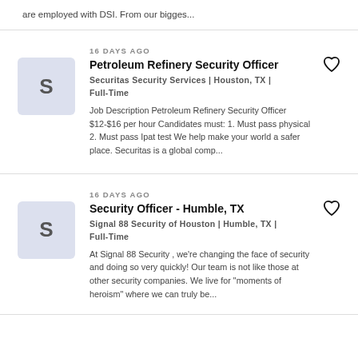are employed with DSI. From our bigges...
16 DAYS AGO
Petroleum Refinery Security Officer
Securitas Security Services | Houston, TX | Full-Time
Job Description Petroleum Refinery Security Officer $12-$16 per hour Candidates must: 1. Must pass physical 2. Must pass Ipat test We help make your world a safer place. Securitas is a global comp...
16 DAYS AGO
Security Officer - Humble, TX
Signal 88 Security of Houston | Humble, TX | Full-Time
At Signal 88 Security , we're changing the face of security and doing so very quickly! Our team is not like those at other security companies. We live for "moments of heroism" where we can truly be...